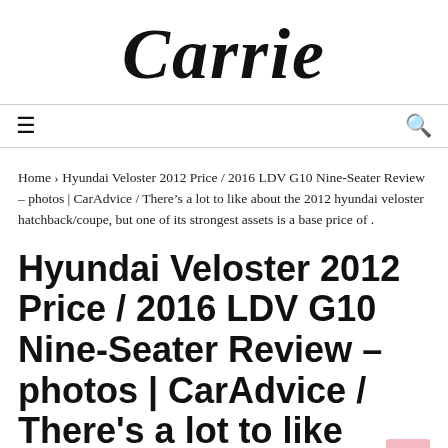Carrie
≡   🔍
Home › Hyundai Veloster 2012 Price / 2016 LDV G10 Nine-Seater Review – photos | CarAdvice / There's a lot to like about the 2012 hyundai veloster hatchback/coupe, but one of its strongest assets is a base price of .
Hyundai Veloster 2012 Price / 2016 LDV G10 Nine-Seater Review – photos | CarAdvice / There's a lot to like about the